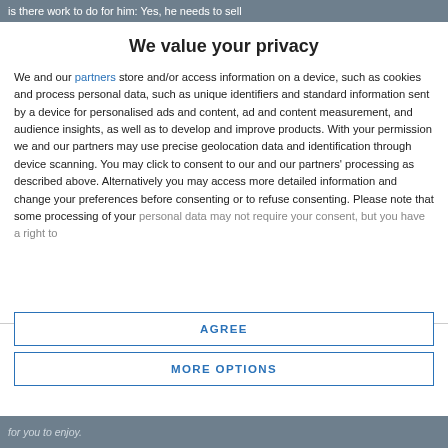is there work to do for him: Yes, he needs to sell
We value your privacy
We and our partners store and/or access information on a device, such as cookies and process personal data, such as unique identifiers and standard information sent by a device for personalised ads and content, ad and content measurement, and audience insights, as well as to develop and improve products. With your permission we and our partners may use precise geolocation data and identification through device scanning. You may click to consent to our and our partners' processing as described above. Alternatively you may access more detailed information and change your preferences before consenting or to refuse consenting. Please note that some processing of your personal data may not require your consent, but you have a right to
AGREE
MORE OPTIONS
for you to enjoy.